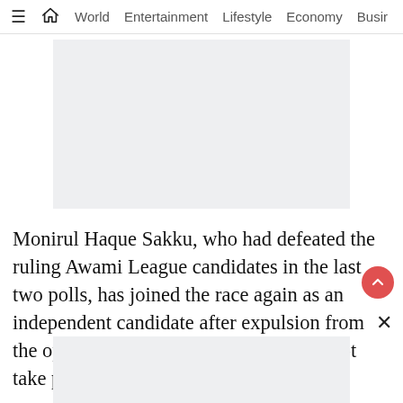≡  🏠  World  Entertainment  Lifestyle  Economy  Busir
[Figure (other): Gray advertisement placeholder box (top)]
Monirul Haque Sakku, who had defeated the ruling Awami League candidates in the last two polls, has joined the race again as an independent candidate after expulsion from the opposition party, which says it will not take part in any election under the
[Figure (other): Gray advertisement placeholder box (bottom)]